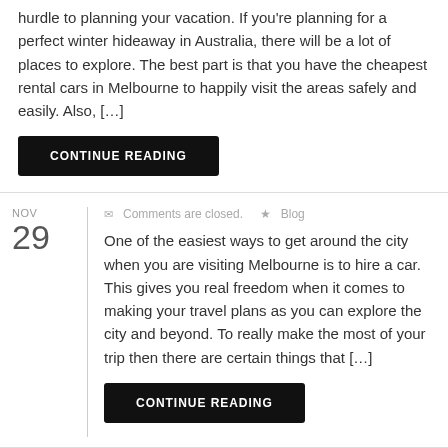hurdle to planning your vacation. If you're planning for a perfect winter hideaway in Australia, there will be a lot of places to explore. The best part is that you have the cheapest rental cars in Melbourne to happily visit the areas safely and easily. Also, […]
CONTINUE READING
NOV 29
Comments are closed.  ★ Blog
One of the easiest ways to get around the city when you are visiting Melbourne is to hire a car. This gives you real freedom when it comes to making your travel plans as you can explore the city and beyond. To really make the most of your trip then there are certain things that […]
CONTINUE READING